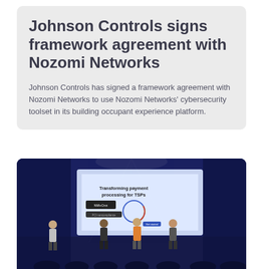Johnson Controls signs framework agreement with Nozomi Networks
Johnson Controls has signed a framework agreement with Nozomi Networks to use Nozomi Networks' cybersecurity toolset in its building occupant experience platform.
[Figure (photo): Conference stage scene showing several people standing in front of a large projection screen displaying 'Transforming payment processing for TSPs' with logos.]
MERGERS AND ACQUISITIONS